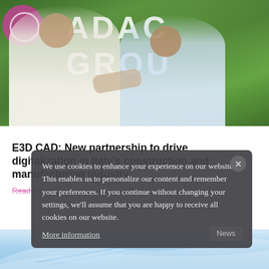[Figure (photo): Two men in white shirts shaking hands in front of a green plant wall with 'ADAC GROUP' text visible. A pink circular logo is partially visible on the left. The photo appears to be at a business partnership signing event.]
E3D CAD: New partnership to drive digitalization in Italy's construction and manufacturing industry
Read more →
We use cookies to enhance your experience on our website. This enables us to personalize our content and remember your preferences. If you continue without changing your settings, we'll assume that you are happy to receive all cookies on our website.
More information
[Figure (photo): Partial view of an architectural rendering showing a modern curved building or structure with flowing lines, blue tones.]